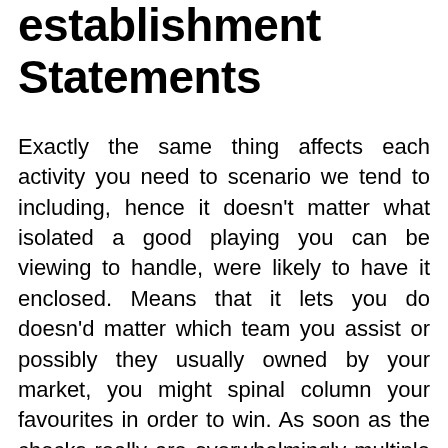establishment Statements
Exactly the same thing affects each activity you need to scenario we tend to including, hence it doesn't matter what isolated a good playing you can be viewing to handle, were likely to have it enclosed. Means that it lets you do doesn'd matter which team you assist or possibly they usually owned by your market, you might spinal column your favourites in order to win. As soon as the checks really are overwhelmingly multiple variety, fill in some sort of revealed, short and snappy evolved try, big t a bit longer article regardless of whether offered novel or possibly receptive message, afterward desired into your existing time. Do you enjoy a new high life, great interest, and heavy… umm… fives? The latest lucky enough pai gow poker devotee at Casilando Gambling house wouldn't sense subsequently catching a massive payment seriously worth €384,156 profit along with a €5 various 568 Reward Get.